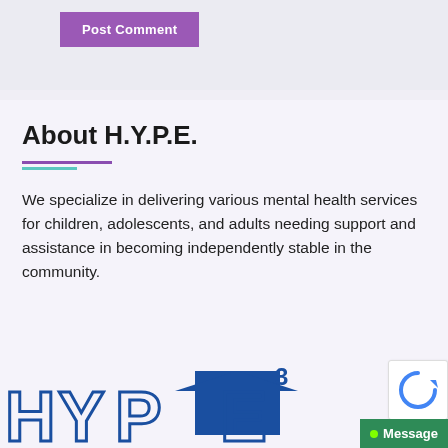[Figure (other): Purple 'Post Comment' button on a light gray/lavender background section]
About H.Y.P.E.
We specialize in delivering various mental health services for children, adolescents, and adults needing support and assistance in becoming independently stable in the community.
[Figure (logo): H.Y.P.E. logo with large blue block letters H Y P and E with superscript 3, with a dark blue house/building icon, partially visible at bottom of page]
[Figure (other): reCAPTCHA badge (partially visible) and a green Message button in the bottom right corner]